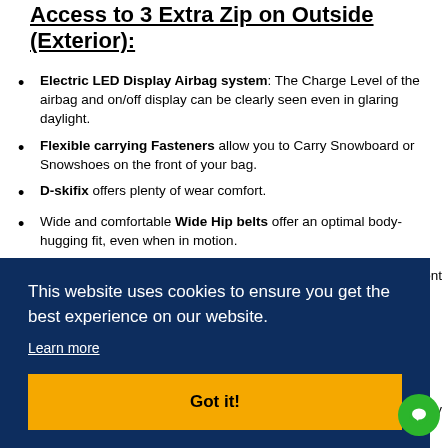Access to 3 Extra Zip on Outside (Exterior):
Electric LED Display Airbag system: The Charge Level of the airbag and on/off display can be clearly seen even in glaring daylight.
Flexible carrying Fasteners allow you to Carry Snowboard or Snowshoes on the front of your bag.
D-skifix offers plenty of wear comfort.
Wide and comfortable Wide Hip belts offer an optimal body-hugging fit, even when in motion.
A safety whistle is attached to the chest straps to draw attention in the case of an avalanche.
This website uses cookies to ensure you get the best experience on our website.
Learn more
Got it!
Back Dimensions :